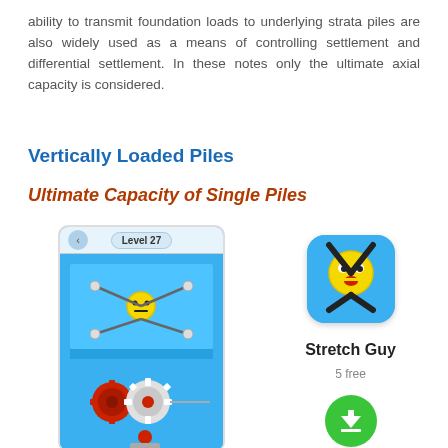ability to transmit foundation loads to underlying strata piles are also widely used as a means of controlling settlement and differential settlement. In these notes only the ultimate axial capacity is considered.
Vertically Loaded Piles
Ultimate Capacity of Single Piles
[Figure (screenshot): Mobile game screenshot showing 'Level 27' with a stickman character stretched between nodes above rotating gear obstacles on a blue 3D platform environment]
[Figure (illustration): App store listing for 'Stretch Guy' showing app icon (surprised emoji face with stretching arms on blue background), app name, '5 free' label, and green download button]